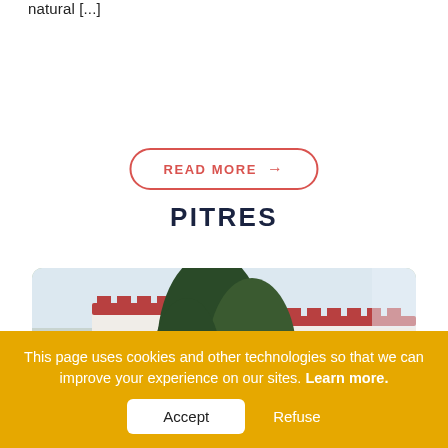natural [...]
READ MORE →
PITRES
[Figure (photo): Exterior view of a white Spanish-style building with red brick decorative window trim, partially obscured by evergreen trees. Winter scene with bare trees visible on the left.]
This page uses cookies and other technologies so that we can improve your experience on our sites. Learn more.
Accept
Refuse